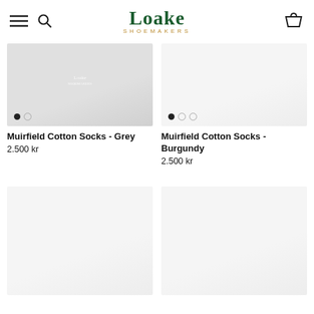Loake Shoemakers
[Figure (photo): Product image of Muirfield Cotton Socks in Grey on light grey background with carousel dots]
Muirfield Cotton Socks - Grey
2.500 kr
[Figure (photo): Product image of Muirfield Cotton Socks in Burgundy on light background with carousel dots]
Muirfield Cotton Socks - Burgundy
2.500 kr
[Figure (photo): Product image bottom left, light grey background]
[Figure (photo): Product image bottom right, light grey background]